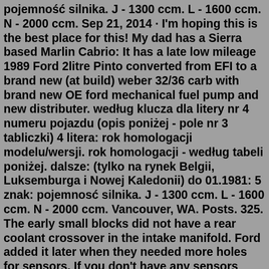pojemność silnika. J - 1300 ccm. L - 1600 ccm. N - 2000 ccm. Sep 21, 2014 · I'm hoping this is the best place for this! My dad has a Sierra based Marlin Cabrio: It has a late low mileage 1989 Ford 2litre Pinto converted from EFI to a brand new (at build) weber 32/36 carb with brand new OE ford mechanical fuel pump and new distributer. według klucza dla litery nr 4 numeru pojazdu (opis poniżej - pole nr 3 tabliczki) 4 litera: rok homologacji modelu/wersji. rok homologacji - według tabeli poniżej. dalsze: (tylko na rynek Belgii, Luksemburga i Nowej Kaledonii) do 01.1981: 5 znak: pojemnosć silnika. J - 1300 ccm. L - 1600 ccm. N - 2000 ccm. Vancouver, WA. Posts. 325. The early small blocks did not have a rear coolant crossover in the intake manifold. Ford added it later when they needed more holes for sensors. If you don't have any sensors plugged into the rear passage then you don't need it. 10-17-2016, 10:00 PM #10. cb84capri.Ford Transit Mk2 Air Filter Motorcraft Luftfilter 1.6 2.0 OHC Pinto Engine Camper EFA165 1575189 nos £4.99